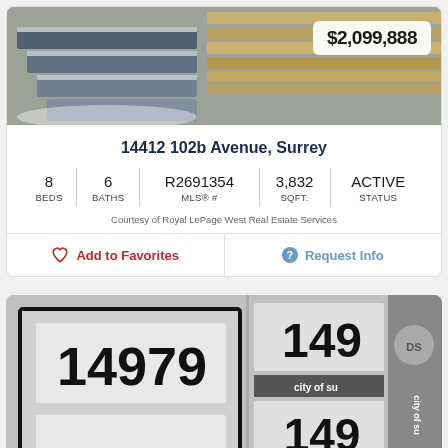[Figure (photo): Outdoor photo showing wooden steps with snow and wood fence/deck, property listing image]
$2,099,888
14412 102b Avenue, Surrey
| BEDS | BATHS | MLS® # | SQFT. | STATUS |
| --- | --- | --- | --- | --- |
| 8 | 6 | R2691354 | 3,832 | ACTIVE |
Courtesy of Royal LePage West Real Estate Services
Add to Favorites
Request Info
[Figure (photo): Photo of a house address sign showing 14979, with '149' numbers and 'city of Surrey' text visible on right side]